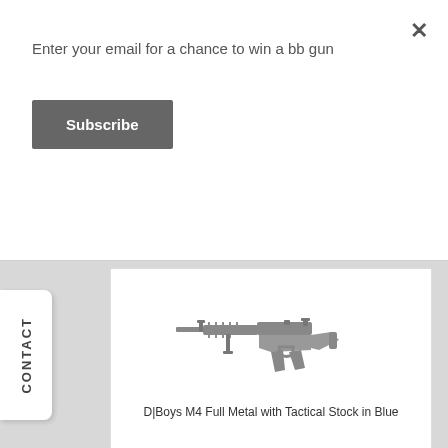Enter your email for a chance to win a bb gun
Subscribe
×
CONTACT
[Figure (photo): D|Boys M4 Full Metal airsoft rifle with tactical stock, shown in a grey/blue metallic finish, side view]
D|Boys M4 Full Metal with Tactical Stock in Blue